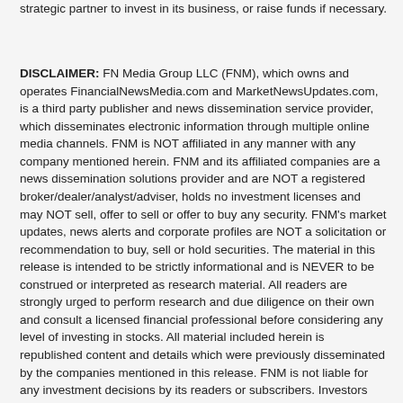strategic partner to invest in its business, or raise funds if necessary.
DISCLAIMER:  FN Media Group LLC (FNM), which owns and operates FinancialNewsMedia.com and MarketNewsUpdates.com, is a third party publisher and news dissemination service provider, which disseminates electronic information through multiple online media channels.  FNM is NOT affiliated in any manner with any company mentioned herein.  FNM and its affiliated companies are a news dissemination solutions provider and are NOT a registered broker/dealer/analyst/adviser, holds no investment licenses and may NOT sell, offer to sell or offer to buy any security.  FNM's market updates, news alerts and corporate profiles are NOT a solicitation or recommendation to buy, sell or hold securities.  The material in this release is intended to be strictly informational and is NEVER to be construed or interpreted as research material.  All readers are strongly urged to perform research and due diligence on their own and consult a licensed financial professional before considering any level of investing in stocks.  All material included herein is republished content and details which were previously disseminated by the companies mentioned in this release.  FNM is not liable for any investment decisions by its readers or subscribers.  Investors are cautioned that they may lose all or a portion of their investment when investing in stocks.  For current services performed FNM has been compensated forty six hundred dollars for news coverage